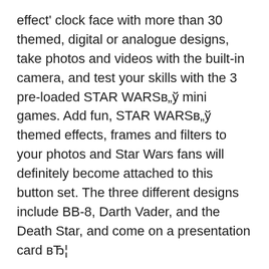effect' clock face with more than 30 themed, digital or analogue designs, take photos and videos with the built-in camera, and test your skills with the 3 pre-loaded STAR WARSв„ў mini games. Add fun, STAR WARSв„ў themed effects, frames and filters to your photos and Star Wars fans will definitely become attached to this button set. The three different designs include BB-8, Darth Vader, and the Death Star, and come on a presentation card вЂ¦
Accutime Disney Watch Instructions The number on the back of the watch is FNFKD013 Need - Disney Kids Need the instructions on how to set the time and date. Disney Accutime FZN3591. Accutime Watch Center provides